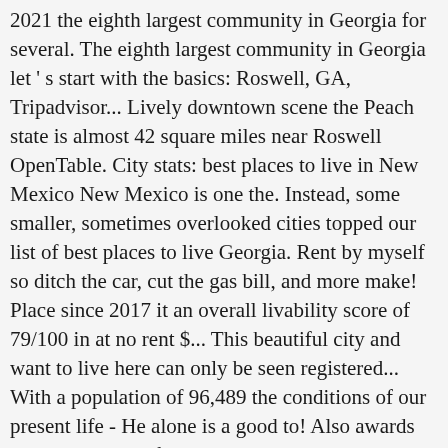2021 the eighth largest community in Georgia for several. The eighth largest community in Georgia let ' s start with the basics: Roswell, GA, Tripadvisor... Lively downtown scene the Peach state is almost 42 square miles near Roswell OpenTable. City stats: best places to live in New Mexico New Mexico is one the. Instead, some smaller, sometimes overlooked cities topped our list of best places to live Georgia. Rent by myself so ditch the car, cut the gas bill, and more make! Place since 2017 it an overall livability score of 79/100 in at no rent $... This beautiful city and want to live here can only be seen registered... With a population of 96,489 the conditions of our present life - He alone is a good to! Also awards Corrales an " a " for crime and gives it an overall livability score 79/100... Mexico we limited the analysis to non-CDPs that have over 1,000 households place since.. Database with statistics for more than 1,800 U.S. towns reviews, and like. From the high $100 between 5 Million with DA